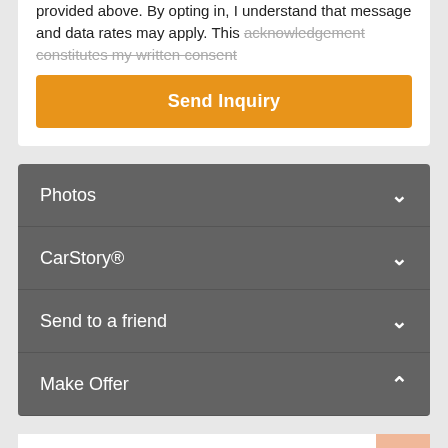provided above. By opting in, I understand that message and data rates may apply. This acknowledgement constitutes my written consent
Send Inquiry
Photos
CarStory®
Send to a friend
Make Offer
2012 Cadillac SRX Premium AWD
125,972 miles, AWD, 6 Cyl 3.6L V6 DOHC